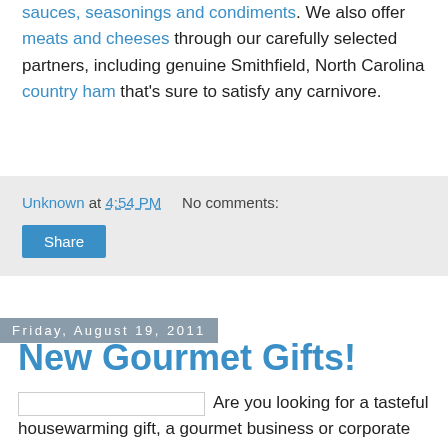sauces, seasonings and condiments. We also offer meats and cheeses through our carefully selected partners, including genuine Smithfield, North Carolina country ham that's sure to satisfy any carnivore.
Unknown at 4:54 PM    No comments:
Share
Friday, August 19, 2011
New Gourmet Gifts!
Are you looking for a tasteful housewarming gift, a gourmet business or corporate gift, a thank-you gift for a hospitable host, a special-occasion gift for someone who enjoys cooking, or simply wish to treat yourself to an assortment of delicious products for your kitchen, grill or table? Check out our new Gourmet Gifts at the Carolina Sauce Company! Our wide selection of gift sets available from our partners includes imported pastas, vinegars and oils from Italy, fine European cheeses,